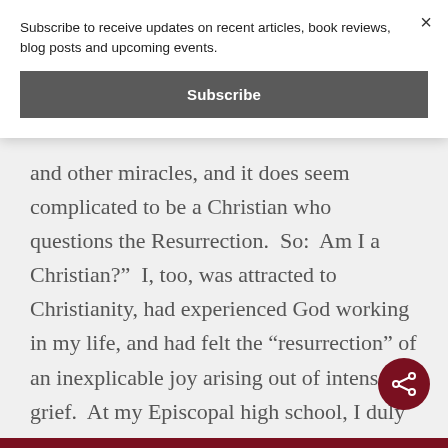Subscribe to receive updates on recent articles, book reviews, blog posts and upcoming events.
Subscribe
and other miracles, and it does seem complicated to be a Christian who questions the Resurrection.  So:  Am I a Christian?"  I, too, was attracted to Christianity, had experienced God working in my life, and had felt the “resurrection” of an inexplicable joy arising out of intense grief.  At my Episcopal high school, I duly recited